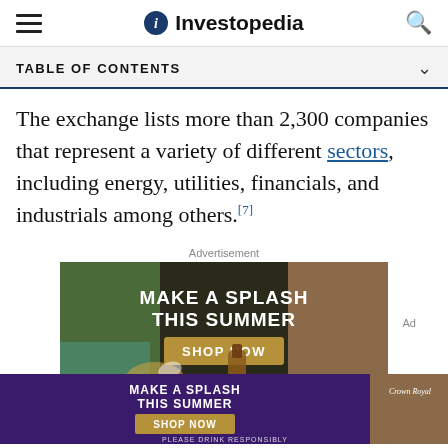Investopedia
TABLE OF CONTENTS
The exchange lists more than 2,300 companies that represent a variety of different sectors, including energy, utilities, financials, and industrials among others.[7]
Advertisement
[Figure (photo): Advertisement banner: 'MAKE A SPLASH THIS SUMMER — SHOP NOW' featuring Crown Royal whiskey bottles and summer drinks on a poolside table.]
[Figure (photo): Bottom sticky advertisement: 'MAKE A SPLASH THIS SUMMER — SHOP NOW' Crown Royal ad with 'PLEASE DRINK RESPONSIBLY' disclaimer.]